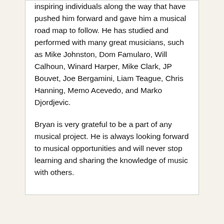inspiring individuals along the way that have pushed him forward and gave him a musical road map to follow. He has studied and performed with many great musicians, such as Mike Johnston, Dom Famularo, Will Calhoun, Winard Harper, Mike Clark, JP Bouvet, Joe Bergamini, Liam Teague, Chris Hanning, Memo Acevedo, and Marko Djordjevic.
Bryan is very grateful to be a part of any musical project. He is always looking forward to musical opportunities and will never stop learning and sharing the knowledge of music with others.